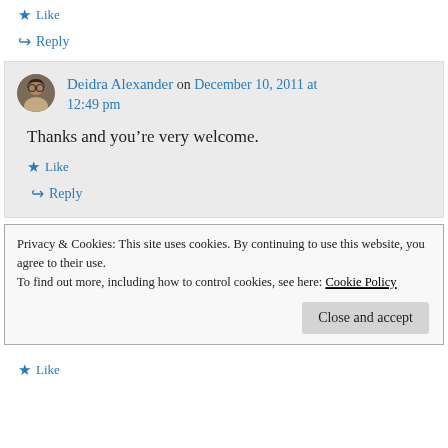★ Like
↪ Reply
Deidra Alexander on December 10, 2011 at 12:49 pm
Thanks and you're very welcome.
★ Like
↪ Reply
Privacy & Cookies: This site uses cookies. By continuing to use this website, you agree to their use.
To find out more, including how to control cookies, see here: Cookie Policy
Close and accept
★ Like